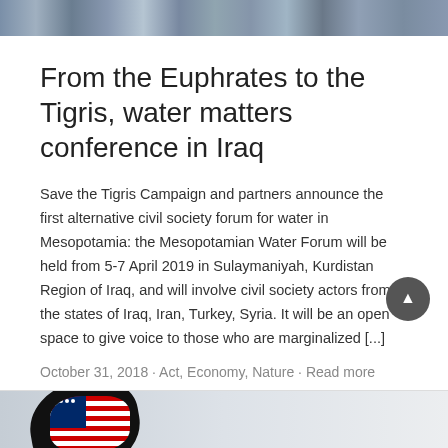[Figure (photo): Aerial or skyline photograph of a city with water, shown as a banner strip at top of page]
From the Euphrates to the Tigris, water matters conference in Iraq
Save the Tigris Campaign and partners announce the first alternative civil society forum for water in Mesopotamia: the Mesopotamian Water Forum will be held from 5-7 April 2019 in Sulaymaniyah, Kurdistan Region of Iraq, and will involve civil society actors from the states of Iraq, Iran, Turkey, Syria. It will be an open space to give voice to those who are marginalized [...]
October 31, 2018 · Act, Economy, Nature · Read more
[Figure (photo): Partial image at bottom of page showing a decorative paw print with American flag pattern on a light background]